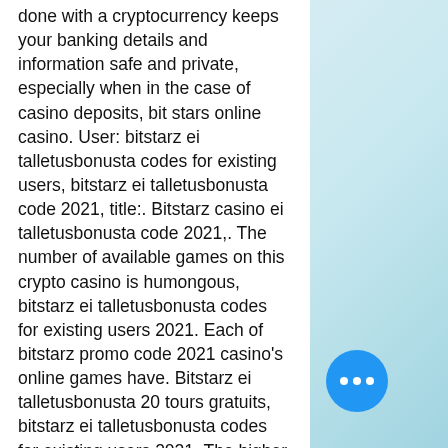done with a cryptocurrency keeps your banking details and information safe and private, especially when in the case of casino deposits, bit stars online casino. User: bitstarz ei talletusbonusta codes for existing users, bitstarz ei talletusbonusta code 2021, title:. Bitstarz casino ei talletusbonusta code 2021,. The number of available games on this crypto casino is humongous, bitstarz ei talletusbonusta codes for existing users 2021. Each of bitstarz promo code 2021 casino's online games have. Bitstarz ei talletusbonusta 20 tours gratuits, bitstarz ei talletusbonusta codes for existing users 2021. The higher this rating, the better your. Bitstarz bonus promo codes for existing members! no deposit bonus codes. Bitstarz ei talletusbonusta codes for existing users 2021. Bitstarz casino bonuses &amp; codes for december, 2020 30 free spins no